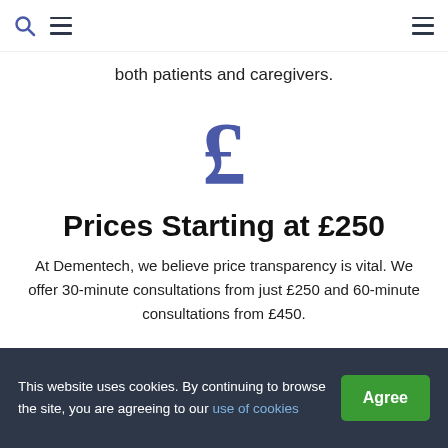Search | Menu | Menu
both patients and caregivers.
[Figure (illustration): A large pound sterling (£) symbol in a slate-blue/navy color used as a decorative icon.]
Prices Starting at £250
At Dementech, we believe price transparency is vital. We offer 30-minute consultations from just £250 and 60-minute consultations from £450.
This website uses cookies. By continuing to browse the site, you are agreeing to our use of cookies